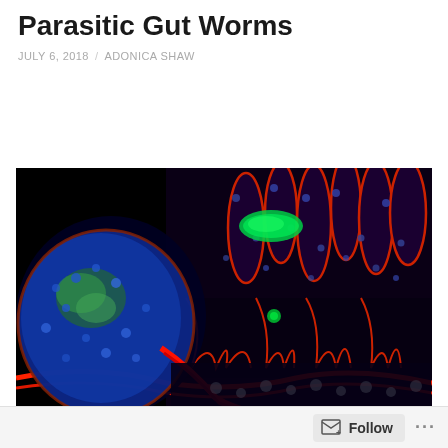Surprising Discovery With Parasitic Gut Worms
JULY 6, 2018 / ADONICA SHAW
[Figure (photo): Fluorescence microscopy image of intestinal tissue cross-section showing parasitic gut worm interaction. Large blue/green circular worm body visible on left, with red-outlined intestinal villi on right. Black background with multi-color fluorescent staining (red, blue, green).]
Follow